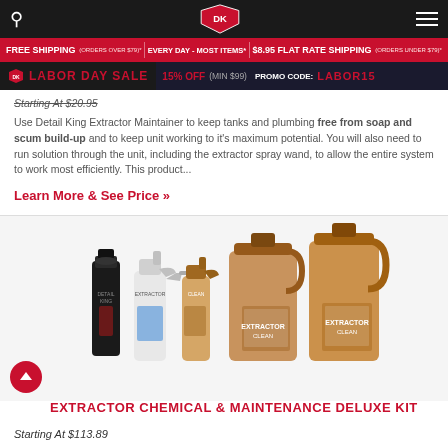Detail King navigation bar with logo and search
FREE SHIPPING (ORDERS OVER $79)* | EVERY DAY - MOST ITEMS* | $8.95 FLAT RATE SHIPPING (ORDERS UNDER $79)*
LABOR DAY SALE 15% OFF (MIN $99) PROMO CODE: LABOR15
Starting At $20.95
Use Detail King Extractor Maintainer to keep tanks and plumbing free from soap and scum build-up and to keep unit working to it's maximum potential. You will also need to run solution through the unit, including the extractor spray wand, to allow the entire system to work most efficiently. This product...
Learn More & See Price »
[Figure (photo): Group of cleaning product bottles and jugs including a black spray can, white spray bottle, amber spray bottle, and two large amber gallon jugs - Extractor Chemical & Maintenance Deluxe Kit]
EXTRACTOR CHEMICAL & MAINTENANCE DELUXE KIT
Starting At $113.89